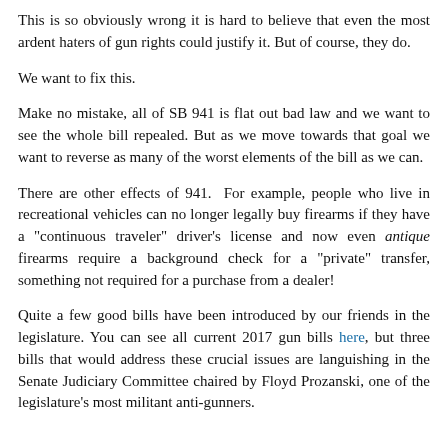This is so obviously wrong it is hard to believe that even the most ardent haters of gun rights could justify it. But of course, they do.
We want to fix this.
Make no mistake, all of SB 941 is flat out bad law and we want to see the whole bill repealed. But as we move towards that goal we want to reverse as many of the worst elements of the bill as we can.
There are other effects of 941. For example, people who live in recreational vehicles can no longer legally buy firearms if they have a "continuous traveler" driver's license and now even antique firearms require a background check for a "private" transfer, something not required for a purchase from a dealer!
Quite a few good bills have been introduced by our friends in the legislature. You can see all current 2017 gun bills here, but three bills that would address these crucial issues are languishing in the Senate Judiciary Committee chaired by Floyd Prozanski, one of the legislature's most militant anti-gunners.